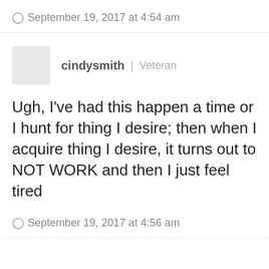September 19, 2017 at 4:54 am
cindysmith | Veteran
Ugh, I've had this happen a time or I hunt for thing I desire; then when I acquire thing I desire, it turns out to NOT WORK and then I just feel tired
September 19, 2017 at 4:56 am